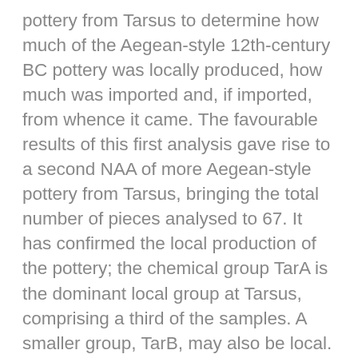pottery from Tarsus to determine how much of the Aegean-style 12th-century BC pottery was locally produced, how much was imported and, if imported, from whence it came. The favourable results of this first analysis gave rise to a second NAA of more Aegean-style pottery from Tarsus, bringing the total number of pieces analysed to 67. It has confirmed the local production of the pottery; the chemical group TarA is the dominant local group at Tarsus, comprising a third of the samples. A smaller group, TarB, may also be local. The analysis revealed a large number of Aegean-style IIIC imports from Cyprus from several different sites; these make up a quarter of the samples. There are a few imports from other areas, including the East Aegean-West Anatolian Interface. Influence from both Cyprus and the Interface can also be seen at Tarsus in the use of some shapes and motifs. A comparison with 12th-century BC imports identified by NAA at the site of Tell Kazel (ancient Simyra) in Syria